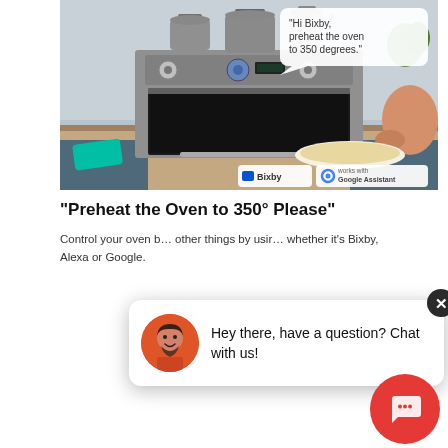[Figure (photo): Samsung smart oven/range in a kitchen with pots on stovetop, a hand placing food in the oven, a speech bubble saying 'Hi Bixby, preheat the oven to 350 degrees.', and Bixby / works with Google Assistant badges at the bottom right. A teal phone is visible at bottom left.]
"Preheat the Oven to 350° Please"
Control your oven b... other things by usir... whether it's Bixby, Alexa or Google.
[Figure (screenshot): Chat popup overlay with avatar icon, close button (X), message 'Hey there, have a question? Chat with us!' and a red circular chat button with message icon.]